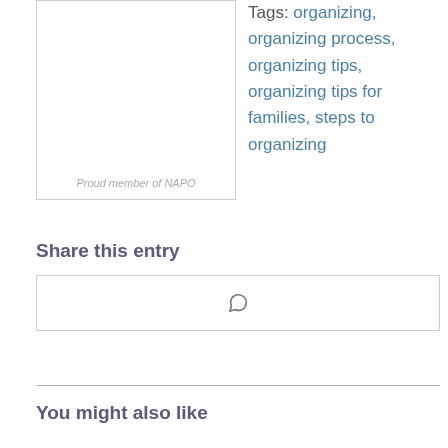[Figure (other): A bordered box containing text 'Proud member of NAPO' in italic gray]
Tags: organizing, organizing process, organizing tips, organizing tips for families, steps to organizing
Share this entry
[Figure (other): A bordered share button box containing a WhatsApp icon]
You might also like